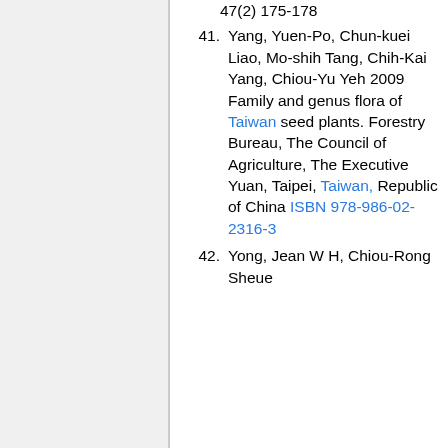47(2) 175-178
41. Yang, Yuen-Po, Chun-kuei Liao, Mo-shih Tang, Chih-Kai Yang, Chiou-Yu Yeh 2009 Family and genus flora of Taiwan seed plants. Forestry Bureau, The Council of Agriculture, The Executive Yuan, Taipei, Taiwan, Republic of China ISBN 978-986-02-2316-3
42. Yong, Jean W H, Chiou-Rong Sheue